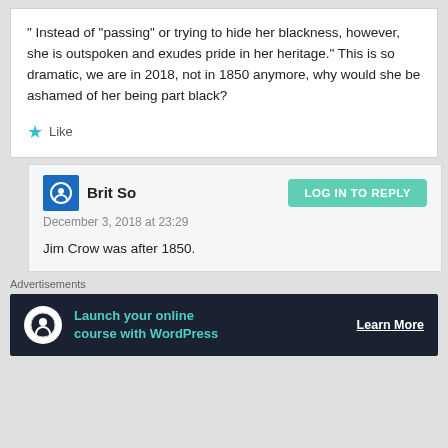" Instead of “passing” or trying to hide her blackness, however, she is outspoken and exudes pride in her heritage." This is so dramatic, we are in 2018, not in 1850 anymore, why would she be ashamed of her being part black?
★ Like
Brit So
December 3, 2018 at 23:29
Jim Crow was after 1850.
Advertisements
[Figure (screenshot): Advertisement banner: Launch your online course with WordPress — Learn More]